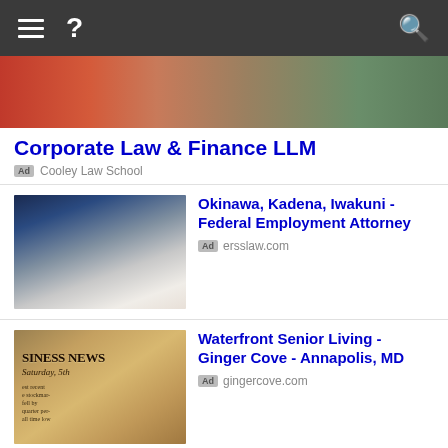[Figure (screenshot): Mobile browser navigation bar with hamburger menu, question mark icon, and search icon on dark background]
[Figure (photo): Hero photo showing people in professional setting with red and olive clothing]
Corporate Law & Finance LLM
Ad  Cooley Law School
[Figure (photo): Person signing documents with pen, hands close-up]
Okinawa, Kadena, Iwakuni - Federal Employment Attorney
Ad  ersslaw.com
[Figure (photo): Business News newspaper headline, Saturday 5th]
Waterfront Senior Living - Ginger Cove - Annapolis, MD
Ad  gingercove.com
[Figure (photo): Court gavel close-up photo]
Fairfax Divorce Attorney
Ad  Jason A. Weis, Esquire